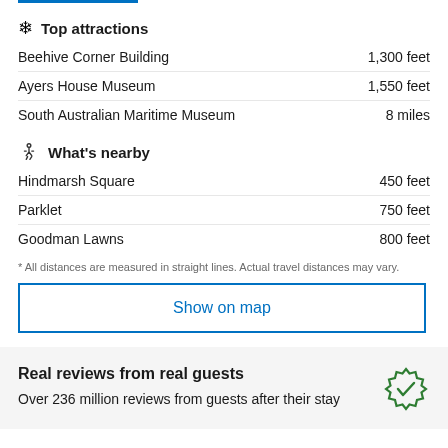Top attractions
Beehive Corner Building  1,300 feet
Ayers House Museum  1,550 feet
South Australian Maritime Museum  8 miles
What's nearby
Hindmarsh Square  450 feet
Parklet  750 feet
Goodman Lawns  800 feet
* All distances are measured in straight lines. Actual travel distances may vary.
Show on map
Real reviews from real guests
Over 236 million reviews from guests after their stay